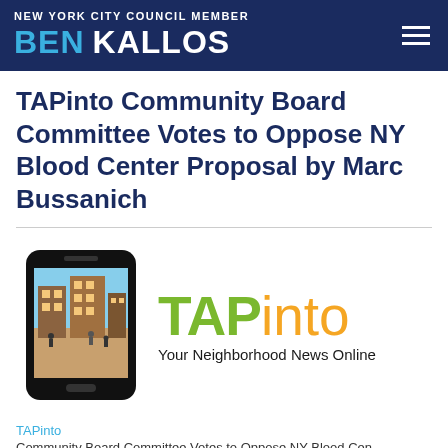NEW YORK CITY COUNCIL MEMBER BEN KALLOS
TAPinto Community Board Committee Votes to Oppose NY Blood Center Proposal by Marc Bussanich
[Figure (logo): TAPinto logo with smartphone icon showing a building scene, text 'TAP' in green and 'into' in orange, tagline 'Your Neighborhood News Online']
TAPinto
Community Board Committee Votes to Oppose NY Blood Center...